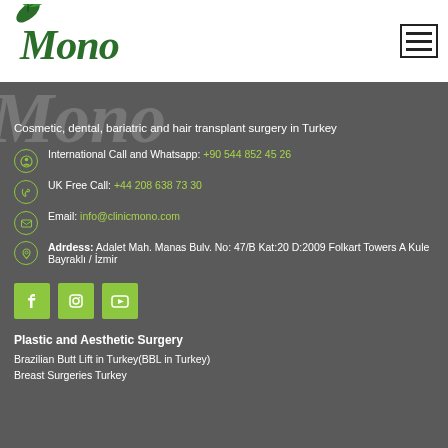[Figure (logo): Mono clinic logo with green leaf illustration and stylized italic text 'Mono']
[Figure (other): Hamburger menu icon (three horizontal lines in a square border)]
Mono (watermark, partial, in background)
Cosmetic, dental, bariatric and hair transplant surgery in Turkey
International Call and Whatsapp: +90 544 852 45 26
UK Free Call: +44 208 638 73 30
Email: info@clinicmono.com
Adrdess: Adalet Mah. Manas Bulv. No: 47/B Kat:20 D:2009 Folkart Towers A Kule Bayraklı / İzmir
[Figure (other): Social media icons: Facebook, Instagram, YouTube (green square buttons)]
Plastic and Aesthetic Surgery
Brazilian Butt Lift in Turkey(BBL in Turkey)
Breast Surgeries Turkey